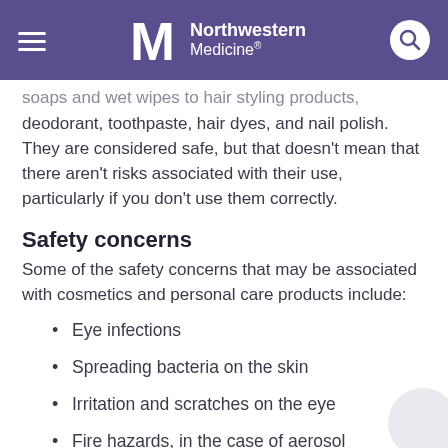Northwestern Medicine
soaps and wet wipes to hair styling products, deodorant, toothpaste, hair dyes, and nail polish. They are considered safe, but that doesn't mean that there aren't risks associated with their use, particularly if you don't use them correctly.
Safety concerns
Some of the safety concerns that may be associated with cosmetics and personal care products include:
Eye infections
Spreading bacteria on the skin
Irritation and scratches on the eye
Fire hazards, in the case of aerosol